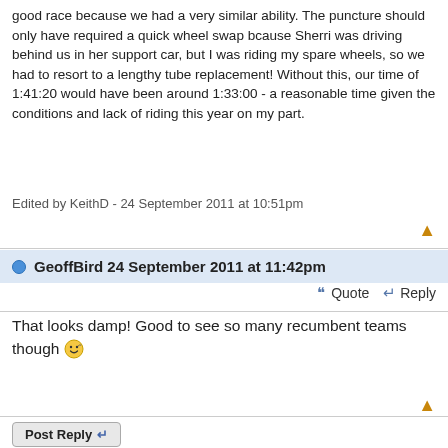good race because we had a very similar ability. The puncture should only have required a quick wheel swap bcause Sherri was driving behind us in her support car, but I was riding my spare wheels, so we had to resort to a lengthy tube replacement! Without this, our time of 1:41:20 would have been around 1:33:00 - a reasonable time given the conditions and lack of riding this year on my part.
Edited by KeithD - 24 September 2011 at 10:51pm
GeoffBird 24 September 2011 at 11:42pm
Quote  Reply
That looks damp! Good to see so many recumbent teams though 🙂
Post Reply